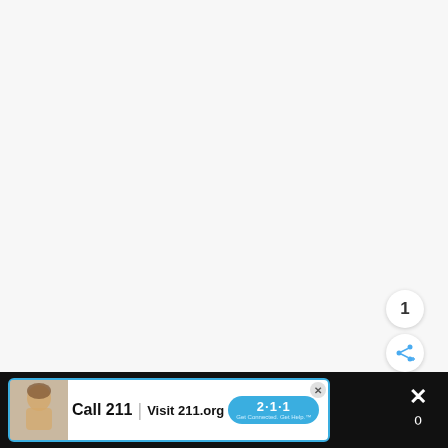[Figure (screenshot): White/light gray upper area of a webpage screenshot, mostly blank content area]
[Figure (photo): Dark black and white photo strip at bottom showing a kitchen sink area with running water and hands]
[Figure (infographic): Floating action button with heart icon (blue circle), like count '1' (white circle), and share button (white circle) on right side]
[Figure (screenshot): Advertisement banner: 'Call 211 | Visit 211.org' with 2-1-1 logo badge and child image, blue border on white background over dark strip]